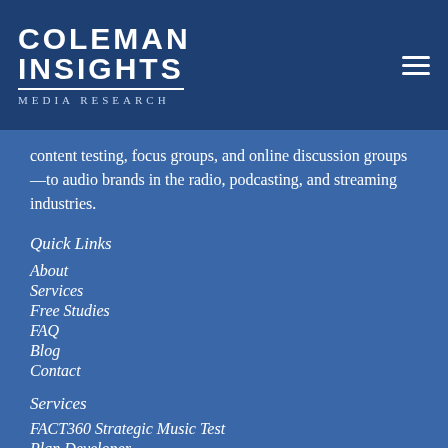Coleman Insights Media Research
content testing, focus groups, and online discussion groups—to audio brands in the radio, podcasting, and streaming industries.
Quick Links
About
Services
Free Studies
FAQ
Blog
Contact
Services
FACT360 Strategic Music Test
Plan Developer
mediaEKG Deep Dive